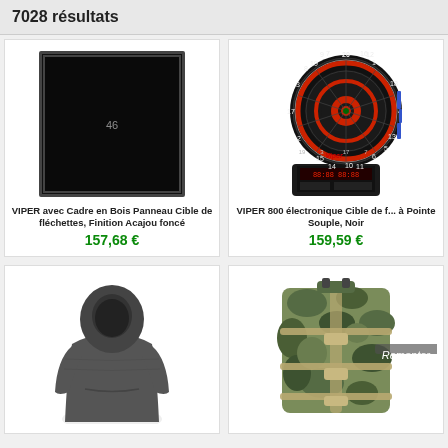7028 résultats
[Figure (photo): Black dart board/blackboard with dark wooden frame, small white text '46' in center]
VIPER avec Cadre en Bois Panneau Cible de fléchettes, Finition Acajou foncé
157,68 €
[Figure (photo): Viper 800 electronic dart board, black and red, with scoreboard display at bottom, blue darts inserted]
VIPER 800 électronique Cible de f... à Pointe Souple, Noir
159,59 €
[Figure (photo): Dark gray hooded sweatshirt/hoodie on white background, hood up, no face visible]
[Figure (photo): Military camouflage backpack/bag with straps, multicam pattern, with Remonter overlay label]